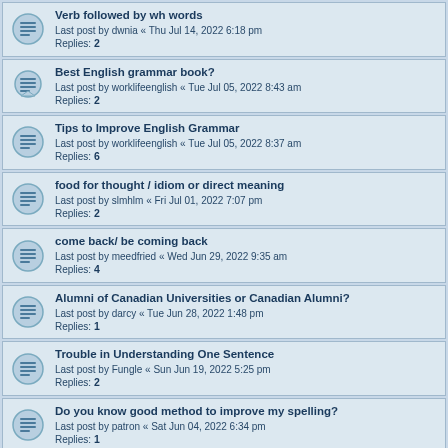Verb followed by wh words
Last post by dwnia « Thu Jul 14, 2022 6:18 pm
Replies: 2
Best English grammar book?
Last post by worklifeenglish « Tue Jul 05, 2022 8:43 am
Replies: 2
Tips to Improve English Grammar
Last post by worklifeenglish « Tue Jul 05, 2022 8:37 am
Replies: 6
food for thought / idiom or direct meaning
Last post by slmhlm « Fri Jul 01, 2022 7:07 pm
Replies: 2
come back/ be coming back
Last post by meedfried « Wed Jun 29, 2022 9:35 am
Replies: 4
Alumni of Canadian Universities or Canadian Alumni?
Last post by darcy « Tue Jun 28, 2022 1:48 pm
Replies: 1
Trouble in Understanding One Sentence
Last post by Fungle « Sun Jun 19, 2022 5:25 pm
Replies: 2
Do you know good method to improve my spelling?
Last post by patron « Sat Jun 04, 2022 6:34 pm
Replies: 1
types of business industry
Last post by tbrown « Wed Jun 01, 2022 12:04 pm
Replies: 2